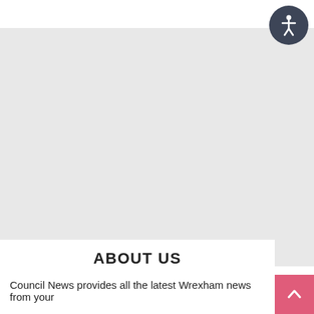[Figure (other): Accessibility icon button — white human figure on dark slate circular background, positioned top-right corner]
[Figure (other): Large light gray content/image area filling most of the page]
ABOUT US
Council News provides all the latest Wrexham news from your
[Figure (other): Pink back-to-top button with white upward chevron arrow, bottom-right corner]